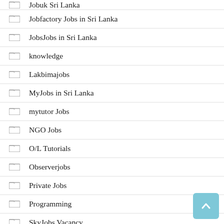Jobuk Sri Lanka
Jobfactory Jobs in Sri Lanka
JobsJobs in Sri Lanka
knowledge
Lakbimajobs
MyJobs in Sri Lanka
mytutor Jobs
NGO Jobs
O/L Tutorials
Observerjobs
Private Jobs
Programming
SkyJobs Vacancy
SLAS Exam
Topjobs Sri Lanka Jobs